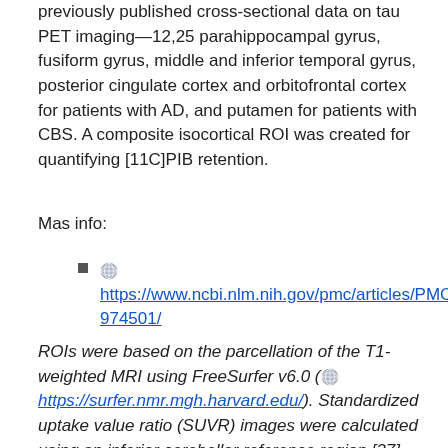previously published cross-sectional data on tau PET imaging—12,25 parahippocampal gyrus, fusiform gyrus, middle and inferior temporal gyrus, posterior cingulate cortex and orbitofrontal cortex for patients with AD, and putamen for patients with CBS. A composite isocortical ROI was created for quantifying [11C]PIB retention.
Mas info:
https://www.ncbi.nlm.nih.gov/pmc/articles/PMC6974501/
ROIs were based on the parcellation of the T1-weighted MRI using FreeSurfer v6.0 (https://surfer.nmr.mgh.harvard.edu/). Standardized uptake value ratio (SUVR) images were calculated using an inferior cerebellar reference region [37]. For comparison, SUVR images were also created using the whole cerebellum and an eroded white matter reference region. Partial volume correction (PVC) was performed using the geometric transfer matrix method [38]. In the